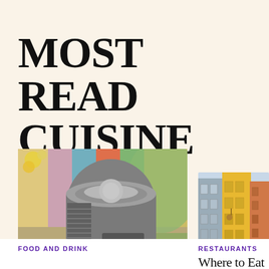MOST READ CUISINE
[Figure (photo): An ice cream machine / gelato maker in stainless steel with colorful background and pink ice cream visible]
[Figure (photo): Colorful European street with buildings in yellow, orange, grey and a cobblestone lane]
FOOD AND DRINK
RESTAURANTS
Where to Eat